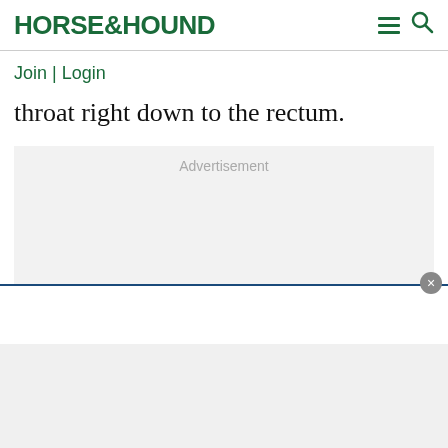HORSE&HOUND
Join | Login
throat right down to the rectum.
[Figure (other): Advertisement placeholder box with light gray background and 'Advertisement' label in gray text]
[Figure (other): Sticky bar with close button (X) and white background with blue top border]
[Figure (other): Bottom advertisement area with light gray background]